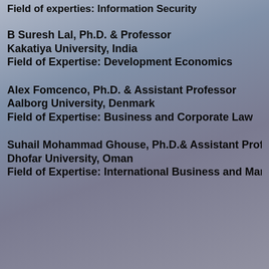Field of experties: Information Security
B Suresh Lal, Ph.D. & Professor
Kakatiya University, India
Field of Expertise: Development Economics
Alex Fomcenco, Ph.D. & Assistant Professor
Aalborg University, Denmark
Field of Expertise: Business and Corporate Law
Suhail Mohammad Ghouse, Ph.D.& Assistant Professor
Dhofar University, Oman
Field of Expertise: International Business and Marke…
…